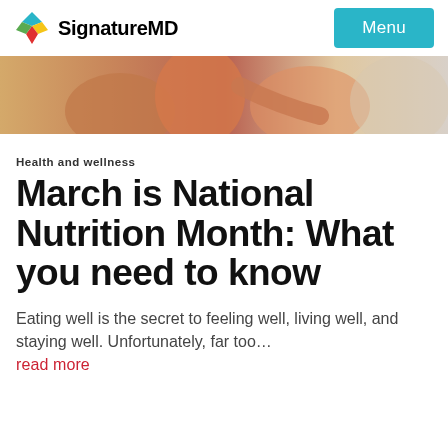SignatureMD  Menu
[Figure (photo): Hero image showing colorful shopping bags with a person's arm visible, suggesting lifestyle/health context]
Health and wellness
March is National Nutrition Month: What you need to know
Eating well is the secret to feeling well, living well, and staying well. Unfortunately, far too... read more